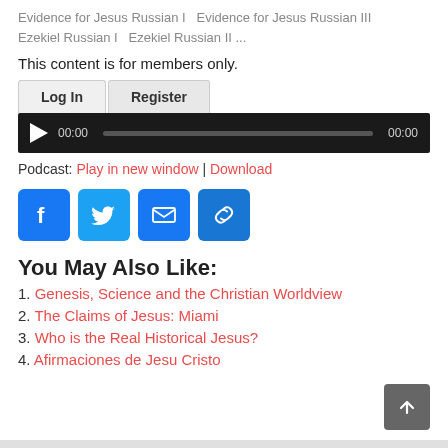Evidence for Jesus Russian I   Evidence for Jesus Russian III   Ezekiel Russian I   Ezekiel Russian II ...
This content is for members only.
[Figure (screenshot): Login/Register tab buttons and audio player bar with play button, time 00:00, progress bar, and end time 00:00]
Podcast: Play in new window | Download
[Figure (infographic): Social sharing icons: Facebook, Twitter, Email, Link]
You May Also Like:
1. Genesis, Science and the Christian Worldview
2. The Claims of Jesus: Miami
3. Who is the Real Historical Jesus?
4. Afirmaciones de Jesu Cristo